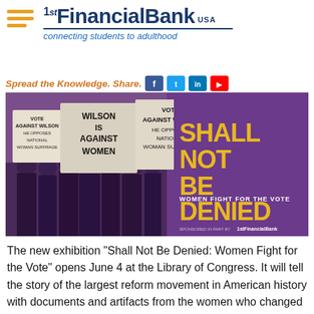1st Financial Bank USA - connecting students to adulthood
Spread the Knowledge. Share.
[Figure (photo): Exhibition banner for 'Shall Not Be Denied: Women Fight for the Vote' showing historical photo of suffragette protesters holding signs reading 'Wilson is Against Women' and 'Vote Against Wilson He Opposes National Woman Suffrage', with bold yellow text on purple background reading 'SHALL NOT BE DENIED WOMEN FIGHT FOR THE VOTE'. Sponsored in part by 1st Financial Bank.]
The new exhibition "Shall Not Be Denied: Women Fight for the Vote" opens June 4 at the Library of Congress. It will tell the story of the largest reform movement in American history with documents and artifacts from the women who changed political history 100 years ago. The